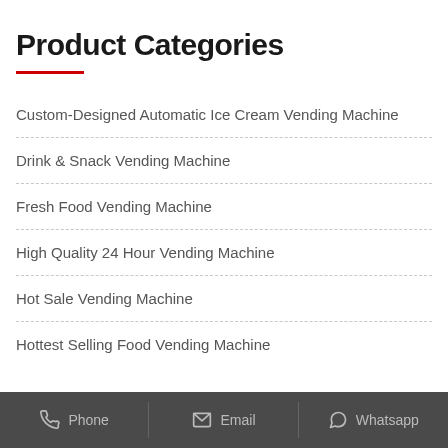Product Categories
Custom-Designed Automatic Ice Cream Vending Machine
Drink & Snack Vending Machine
Fresh Food Vending Machine
High Quality 24 Hour Vending Machine
Hot Sale Vending Machine
Hottest Selling Food Vending Machine
Phone   Email   Whatsapp